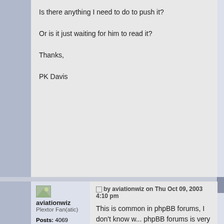Is there anything I need to do to push it?

Or is it just waiting for him to read it?

Thanks,

PK Davis
by aviationwiz on Thu Oct 09, 2003 4:10 pm

This is common in phpBB forums, I don't know w... phpBB forums is very slow.
aviationwiz
Plextor Fan(atic)
Posts: 4069
Joined: Tue Jul 16, 2002 2:55 am
Location: Home of the Red Tail
by TheWizard on Thu Oct 09, 2003 4:41 pm

He got the message, but just like many Email pro... the Sent or Outbox folder. You can erase the mes...
TheWizard
CD-RW Player
Posts: 2074
Joined: Fri Jun 28, 2002 6:56 pm